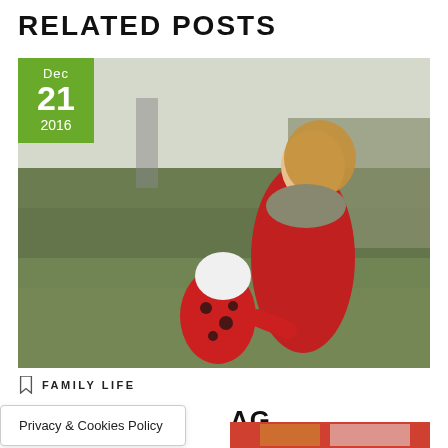RELATED POSTS
[Figure (photo): Photo of a woman in a red coat and a child in a red polka-dot jacket with white hat, standing on a grassy field in foggy weather. Date badge shows Dec 21 2016 in green.]
FAMILY LIFE
Privacy & Cookies Policy
AG